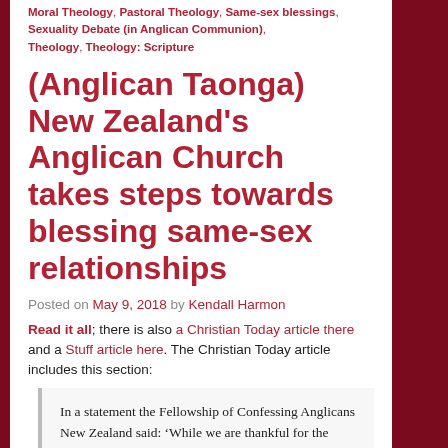Moral Theology, Pastoral Theology, Same-sex blessings, Sexuality Debate (in Anglican Communion), Theology, Theology: Scripture
(Anglican Taonga) New Zealand's Anglican Church takes steps towards blessing same-sex relationships
Posted on May 9, 2018 by Kendall Harmon
Read it all; there is also a Christian Today article there and a Stuff article here. The Christian Today article includes this section:
In a statement the Fellowship of Confessing Anglicans New Zealand said: ‘While we are thankful for the gracious spirit in which the debate was held, we disagree with the final outcome. We believe the General Synod has acted in a way which leaves behind biblical authority, the